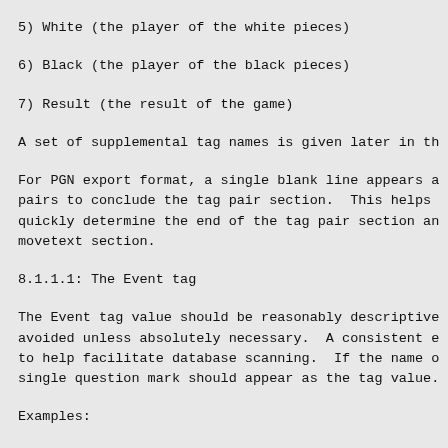5) White (the player of the white pieces)
6) Black (the player of the black pieces)
7) Result (the result of the game)
A set of supplemental tag names is given later in th
For PGN export format, a single blank line appears a pairs to conclude the tag pair section.  This helps quickly determine the end of the tag pair section an movetext section.
8.1.1.1: The Event tag
The Event tag value should be reasonably descriptive avoided unless absolutely necessary.  A consistent e to help facilitate database scanning.  If the name o single question mark should appear as the tag value.
Examples:
[Event "FIDE World Championship"]